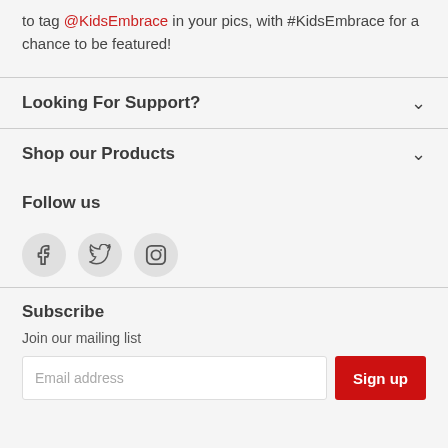to tag @KidsEmbrace in your pics, with #KidsEmbrace for a chance to be featured!
Looking For Support?
Shop our Products
Follow us
[Figure (other): Social media icons: Facebook, Twitter, Instagram]
Subscribe
Join our mailing list
Email address [input field] Sign up [button]